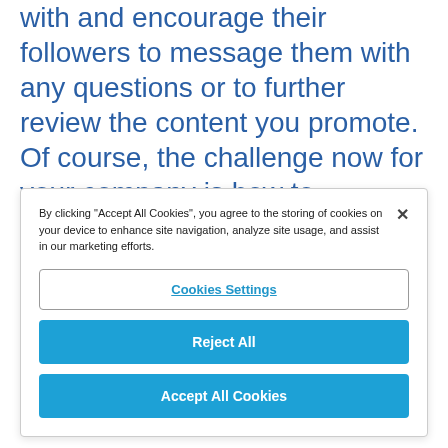with and encourage their followers to message them with any questions or to further review the content you promote. Of course, the challenge now for your company is how to determine the sort of content that will resonate the best with their audiences. User data is the key to
By clicking "Accept All Cookies", you agree to the storing of cookies on your device to enhance site navigation, analyze site usage, and assist in our marketing efforts.
Cookies Settings
Reject All
Accept All Cookies